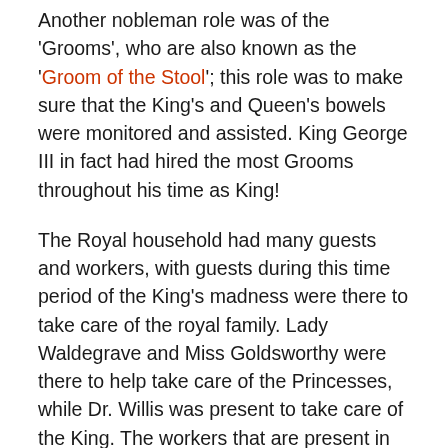Another nobleman role was of the 'Grooms', who are also known as the 'Groom of the Stool'; this role was to make sure that the King's and Queen's bowels were monitored and assisted. King George III in fact had hired the most Grooms throughout his time as King!
The Royal household had many guests and workers, with guests during this time period of the King's madness were there to take care of the royal family. Lady Waldegrave and Miss Goldsworthy were there to help take care of the Princesses, while Dr. Willis was present to take care of the King. The workers that are present in the Royal Menus had to make sure that the King and Queen were being served, fed and taken care of. The Royal Menus were in place to control the food that was being made daily in the household, being written by the Clerk of the Kitchen who had to make sure that the food being made would feed everyone at the palace. If you want to find out more about the Royal Menu's check out our other blog posts! Learn